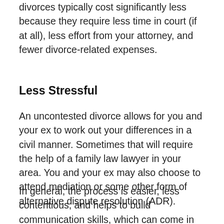divorces typically cost significantly less because they require less time in court (if at all), less effort from your attorney, and fewer divorce-related expenses.
Less Stressful
An uncontested divorce allows for you and your ex to work out your differences in a civil manner. Sometimes that will require the help of a family law lawyer in your area. You and your ex may also choose to attend mediation or some other form of alternative dispute resolution (ADR).
In general, the process is easier, less contentious, and helps to build communication skills, which can come in handy if there are children involved in your